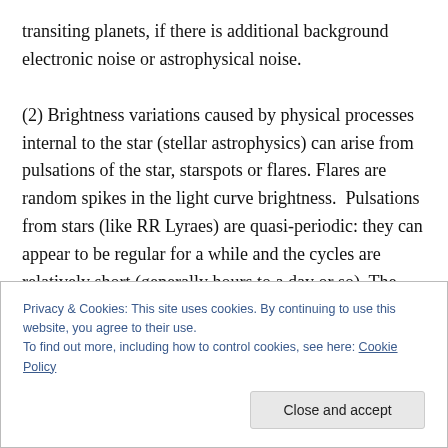transiting planets, if there is additional background electronic noise or astrophysical noise.

(2) Brightness variations caused by physical processes internal to the star (stellar astrophysics) can arise from pulsations of the star, starspots or flares. Flares are random spikes in the light curve brightness. Pulsations from stars (like RR Lyraes) are quasi-periodic: they can appear to be regular for a while and the cycles are relatively short (generally hours to a day or so). The Figure below shows two variable stars with short periods that
Privacy & Cookies: This site uses cookies. By continuing to use this website, you agree to their use.
To find out more, including how to control cookies, see here: Cookie Policy
Close and accept